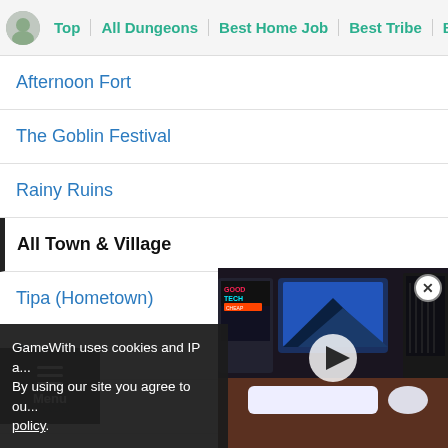Top | All Dungeons | Best Home Job | Best Tribe | Bes...
Afternoon Fort
The Goblin Festival
Rainy Ruins
All Town & Village
Tipa (Hometown)
Port Tipa
...s Pass
Jegon River (East & West)
Alfitaria
GameWith uses cookies and IP a... By using our site you agree to ou... policy.
[Figure (screenshot): Video player overlay showing a music studio/desk scene with a play button in the center and a close (X) button in the top right. A colorful 'GoodTech' logo is visible in the top left of the video.]